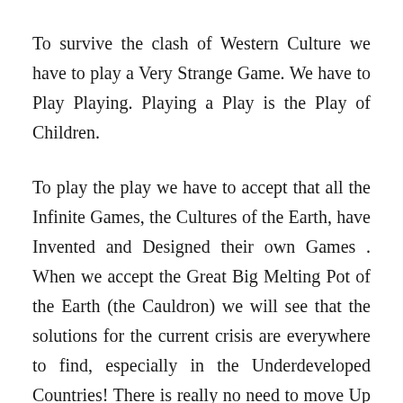To survive the clash of Western Culture we have to play a Very Strange Game. We have to Play Playing. Playing a Play is the Play of Children.
To play the play we have to accept that all the Infinite Games, the Cultures of the Earth, have Invented and Designed their own Games . When we accept the Great Big Melting Pot of the Earth (the Cauldron) we will see that the solutions for the current crisis are everywhere to find, especially in the Underdeveloped Countries! There is really no need to move Up and Down all the time.
We could finally step out of the Cycle into Unknown Territory and be Surprised to discover completely new...